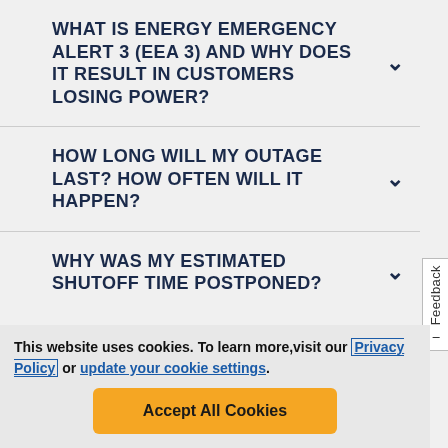WHAT IS ENERGY EMERGENCY ALERT 3 (EEA 3) AND WHY DOES IT RESULT IN CUSTOMERS LOSING POWER?
HOW LONG WILL MY OUTAGE LAST? HOW OFTEN WILL IT HAPPEN?
WHY WAS MY ESTIMATED SHUTOFF TIME POSTPONED?
This website uses cookies. To learn more, visit our Privacy Policy or update your cookie settings.
Accept All Cookies